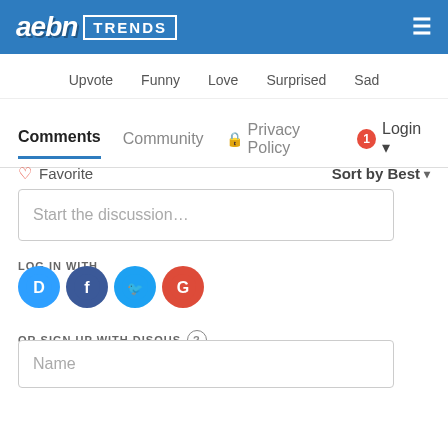[Figure (logo): AEBN TRENDS logo on blue header bar with hamburger menu icon]
Upvote  Funny  Love  Surprised  Sad
Comments  Community  Privacy Policy  Login
♡ Favorite   Sort by Best ▾
Start the discussion…
LOG IN WITH
[Figure (logo): Social login icons: Disqus (D), Facebook (f), Twitter bird, Google (G)]
OR SIGN UP WITH DISQUS ?
Name